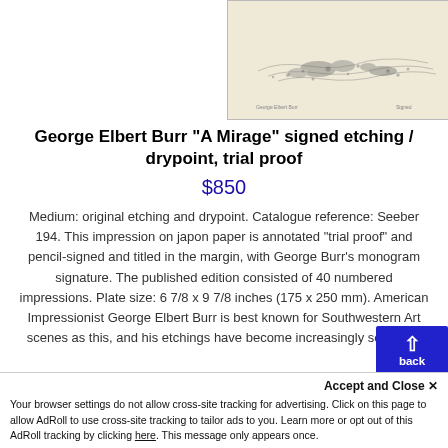[Figure (photo): Artwork image of George Elbert Burr 'A Mirage' etching/drypoint, showing a landscape with sparse marks on aged paper]
George Elbert Burr "A Mirage" signed etching / drypoint, trial proof
$850
Medium: original etching and drypoint. Catalogue reference: Seeber 194. This impression on japon paper is annotated "trial proof" and pencil-signed and titled in the margin, with George Burr's monogram signature. The published edition consisted of 40 numbered impressions. Plate size: 6 7/8 x 9 7/8 inches (175 x 250 mm). American Impressionist George Elbert Burr is best known for Southwestern Art scenes as this, and his etchings have become increasingly sou after.
Accept and Close ✕
Your browser settings do not allow cross-site tracking for advertising. Click on this page to allow AdRoll to use cross-site tracking to tailor ads to you. Learn more or opt out of this AdRoll tracking by clicking here. This message only appears once.